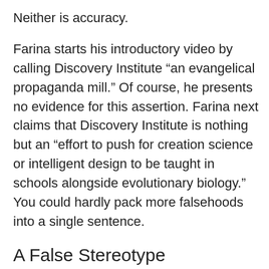Neither is accuracy.
Farina starts his introductory video by calling Discovery Institute “an evangelical propaganda mill.” Of course, he presents no evidence for this assertion. Farina next claims that Discovery Institute is nothing but an “effort to push for creation science or intelligent design to be taught in schools alongside evolutionary biology.” You could hardly pack more falsehoods into a single sentence.
A False Stereotype
First of all, it is an absolutely false stereotype to equate intelligent design theory with creation science. This equation has been refuted so often that nobody